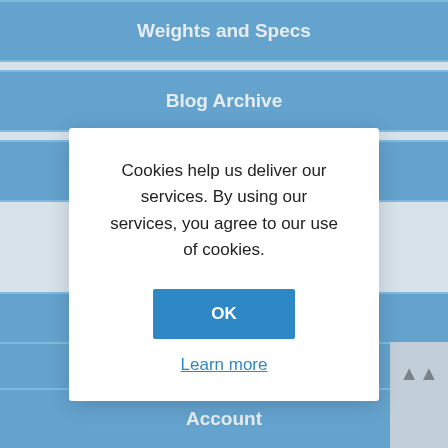Weights and Specs
Blog Archive
Carbon Fiber Glossary
Cookies help us deliver our services. By using our services, you agree to our use of cookies.
OK
Learn more
Wishlist
Orders
Account